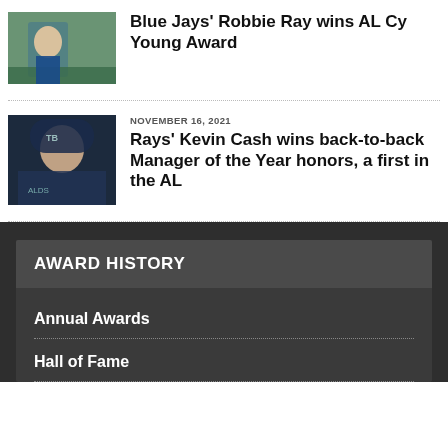[Figure (photo): Baseball player in Blue Jays uniform on field]
Blue Jays' Robbie Ray wins AL Cy Young Award
[Figure (photo): Tampa Bay Rays manager Kevin Cash during ALDS press conference]
NOVEMBER 16, 2021
Rays' Kevin Cash wins back-to-back Manager of the Year honors, a first in the AL
AWARD HISTORY
Annual Awards
Hall of Fame